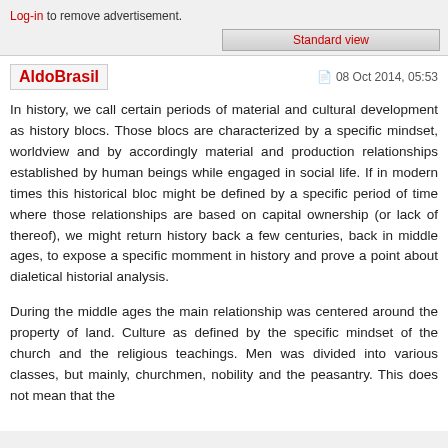Log-in to remove advertisement.
Standard view
AldoBrasil
08 Oct 2014, 05:53
In history, we call certain periods of material and cultural development as history blocs. Those blocs are characterized by a specific mindset, worldview and by accordingly material and production relationships established by human beings while engaged in social life. If in modern times this historical bloc might be defined by a specific period of time where those relationships are based on capital ownership (or lack of thereof), we might return history back a few centuries, back in middle ages, to expose a specific momment in history and prove a point about dialetical historial analysis.
During the middle ages the main relationship was centered around the property of land. Culture as defined by the specific mindset of the church and the religious teachings. Men was divided into various classes, but mainly, churchmen, nobility and the peasantry. This does not mean that the